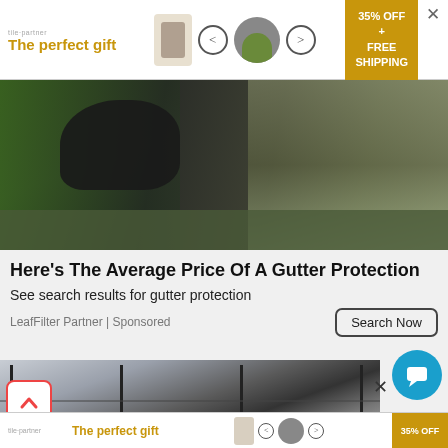[Figure (screenshot): Top advertisement banner: The perfect gift with product images, 35% OFF + FREE SHIPPING offer badge, and close X button]
[Figure (photo): Person in black shirt cleaning or working on house gutters, with green foliage and roof shingles visible]
Here's The Average Price Of A Gutter Protection
See search results for gutter protection
LeafFilter Partner | Sponsored
[Figure (screenshot): Search Now button with rounded rectangle border]
[Figure (photo): Close-up of house windows with bare tree branches reflected or visible through the glass, light exterior siding visible]
[Figure (screenshot): Bottom advertisement banner partial: same gift ad with 35% OFF badge]
[Figure (screenshot): Blue circular chat/messenger button in lower right corner]
[Figure (screenshot): Back to top button (orange chevron up) in lower left corner]